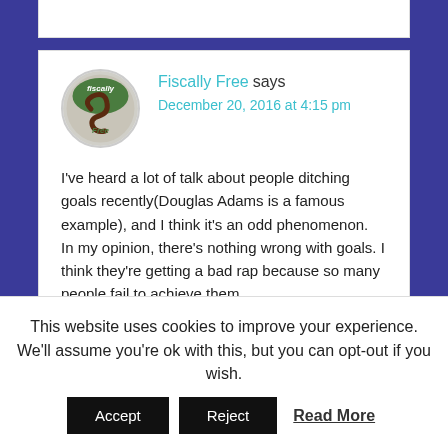Fiscally Free says
December 20, 2016 at 4:15 pm
I've heard a lot of talk about people ditching goals recently(Douglas Adams is a famous example), and I think it's an odd phenomenon.
In my opinion, there's nothing wrong with goals. I think they're getting a bad rap because so many people fail to achieve them.
By replacing your goals with habits, you're just rephrasing things. In reality, you still have the
This website uses cookies to improve your experience. We'll assume you're ok with this, but you can opt-out if you wish.
Accept   Reject   Read More